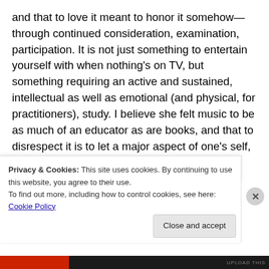and that to love it meant to honor it somehow—through continued consideration, examination, participation. It is not just something to entertain yourself with when nothing's on TV, but something requiring an active and sustained, intellectual as well as emotional (and physical, for practitioners), study. I believe she felt music to be as much of an educator as are books, and that to disrespect it is to let a major aspect of one's self, of one's soul, atrophy. It might say something more about my own retardation that I hadn't considered this until given a talking-to in my mid-twenties; nevertheless, I'm grateful
Privacy & Cookies: This site uses cookies. By continuing to use this website, you agree to their use.
To find out more, including how to control cookies, see here: Cookie Policy
Close and accept